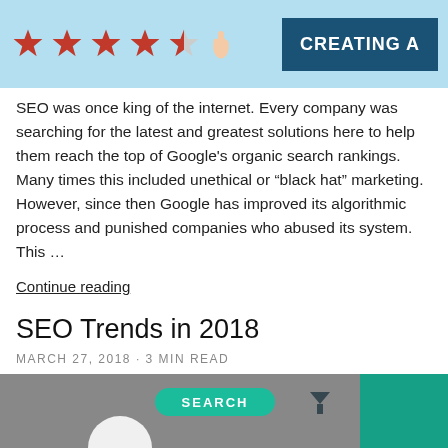[Figure (infographic): Top banner image with four and a half red stars on a light blue background, and a dark blue box with text 'CREATING A' on the right]
SEO was once king of the internet. Every company was searching for the latest and greatest solutions here to help them reach the top of Google's organic search rankings. Many times this included unethical or “black hat” marketing. However, since then Google has improved its algorithmic process and punished companies who abused its system. This …
Continue reading
SEO Trends in 2018
MARCH 27, 2018 · 3 min read
[Figure (infographic): Bottom portion of an infographic showing circular diagram elements with teal/green and red sections, and a 'Search' label on a green rounded rectangle]